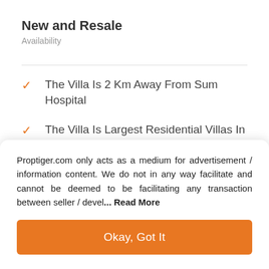New and Resale
Availability
The Villa Is 2 Km Away From Sum Hospital
The Villa Is Largest Residential Villas In Kalinga Nagar
Proptiger.com only acts as a medium for advertisement / information content. We do not in any way facilitate and cannot be deemed to be facilitating any transaction between seller / devel... Read More
Okay, Got It